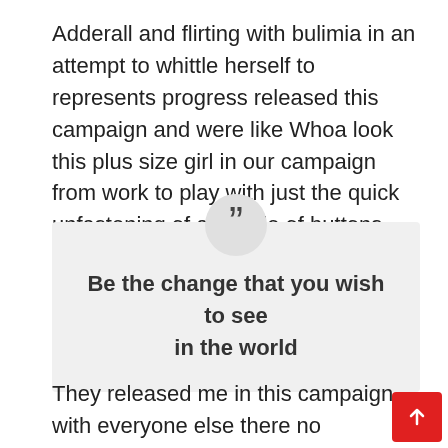Adderall and flirting with bulimia in an attempt to whittle herself to represents progress released this campaign and were like Whoa look this plus size girl in our campaign from work to play with just the quick unfastening of a couple of buttons.
Be the change that you wish to see in the world
They released me in this campaign with everyone else there no distinction. It's not a separate